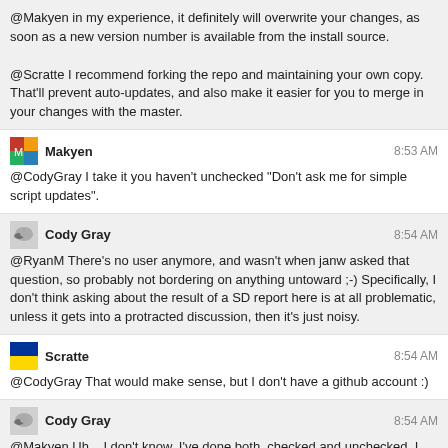@Makyen in my experience, it definitely will overwrite your changes, as soon as a new version number is available from the install source.

@Scratte I recommend forking the repo and maintaining your own copy. That'll prevent auto-updates, and also make it easier for you to merge in your changes with the master.
Makyen 8:53 AM
@CodyGray I take it you haven't unchecked "Don't ask me for simple script updates".
Cody Gray 8:54 AM
@RyanM There's no user anymore, and wasn't when janw asked that question, so probably not bordering on anything untoward ;-) Specifically, I don't think asking about the result of a SD report here is at all problematic, unless it gets into a protracted discussion, then it's just noisy.
Scratte 8:54 AM
@CodyGray That would make sense, but I don't have a github account :)
Cody Gray 8:54 AM
@Makyen Uh... I don't know. I've done both, checked and unchecked. I can't remember in which specific configuration my local changes have been overwritten.
Ryan M 8:55 AM
@CodyGray Yeah, I figured out that the user had been destroyed when I went to see if they'd posted anything else other than two spam posts...I assume from the destruction that they had not
Cody Gray 8:55 AM
Nope
@Scratte Unlike so many, that is actually a solvable problem.